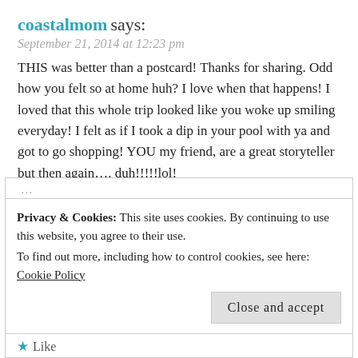coastalmom says:
September 21, 2014 at 12:23 pm
THIS was better than a postcard! Thanks for sharing. Odd how you felt so at home huh? I love when that happens! I loved that this whole trip looked like you woke up smiling everyday! I felt as if I took a dip in your pool with ya and got to go shopping! YOU my friend, are a great storyteller but then again…. duh!!!!!lol!
xoxo
★ Like
REPLY
Privacy & Cookies: This site uses cookies. By continuing to use this website, you agree to their use.
To find out more, including how to control cookies, see here: Cookie Policy
Close and accept
★ Like